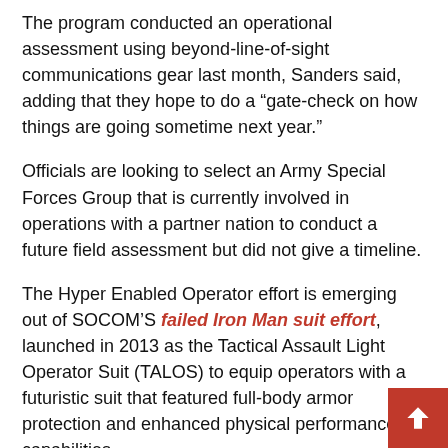The program conducted an operational assessment using beyond-line-of-sight communications gear last month, Sanders said, adding that they hope to do a “gate-check on how things are going sometime next year.”
Officials are looking to select an Army Special Forces Group that is currently involved in operations with a partner nation to conduct a future field assessment but did not give a timeline.
The Hyper Enabled Operator effort is emerging out of SOCOM’S failed Iron Man suit effort, launched in 2013 as the Tactical Assault Light Operator Suit (TALOS) to equip operators with a futuristic suit that featured full-body armor protection and enhanced physical performance capabilities.
“Today’s technology doesn’t allow for the Iron Man suit,” said Gen. Richard Clarke, commander of USSOCOM. “You know, there is no Tony Stark, but the idea is there that, in the future, in the operating environment, it’s going to be increasingly complex, dynamic and lethal.